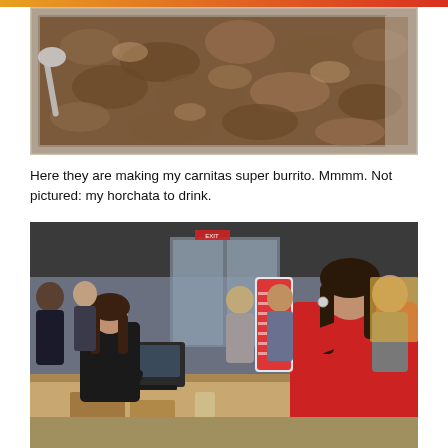[Figure (photo): Close-up photo of a metal steam tray filled with cooked carnitas (shredded pork) at a Mexican restaurant, viewed from above. A ladle/scoop is visible on the left side.]
Here they are making my carnitas super burrito. Mmmm. Not pictured: my horchata to drink.
[Figure (photo): Indoor photo at a Mexican restaurant (Chipotle-style). A woman in a red coat stands at the counter holding a stack of red-patterned cups/glasses. A female cashier in black is behind the counter with a POS terminal. Several customers wait in line in the background near glass doors.]